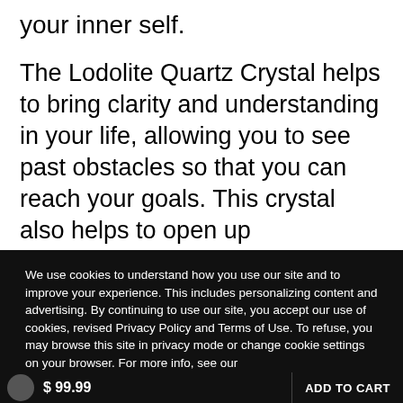your inner self.
The Lodolite Quartz Crystal helps to bring clarity and understanding in your life, allowing you to see past obstacles so that you can reach your goals. This crystal also helps to open up communication between people who may have been separated from each other for some time. It allows them to reconnect with one another on a deeper level than ever before possible.
We use cookies to understand how you use our site and to improve your experience. This includes personalizing content and advertising. By continuing to use our site, you accept our use of cookies, revised Privacy Policy and Terms of Use. To refuse, you may browse this site in privacy mode or change cookie settings on your browser. For more info, see our Privacy Policy.  Learn More
Ok
$ 99.99   ADD TO CART